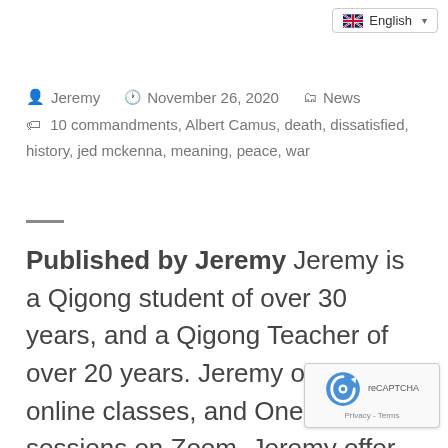English
Jeremy   November 26, 2020   News
🏷 10 commandments, Albert Camus, death, dissatisfied, history, jed mckenna, meaning, peace, war
Published by Jeremy Jeremy is a Qigong student of over 30 years, and a Qigong Teacher of over 20 years. Jeremy offers online classes, and One to one sessions on Zoom. Jeremy offer...